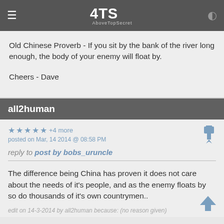ATS AboveTopSecret
Old Chinese Proverb - If you sit by the bank of the river long enough, the body of your enemy will float by.

Cheers - Dave
all2human
★ ★ ★ ★ ★ +4 more
posted on Mar, 14 2014 @ 08:58 PM
reply to post by bobs_uruncle
The difference being China has proven it does not care about the needs of it's people, and as the enemy floats by so do thousands of it's own countrymen..
edit on 14-3-2014 by all2human because: (no reason given)